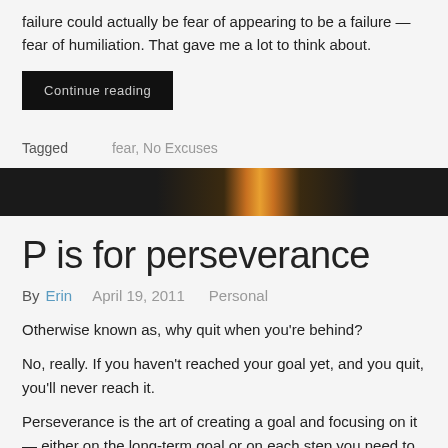failure could actually be fear of appearing to be a failure — fear of humiliation. That gave me a lot to think about.
Continue reading
Tagged   fear, No Excuses
[Figure (photo): Dark banner image with a glowing light in the center-right area against a dark background]
P is for perseverance
By Erin   April 19, 2011   Personal
Otherwise known as, why quit when you're behind?
No, really. If you haven't reached your goal yet, and you quit, you'll never reach it.
Perseverance is the art of creating a goal and focusing on it — either on the long-term goal or on each step you need to take along